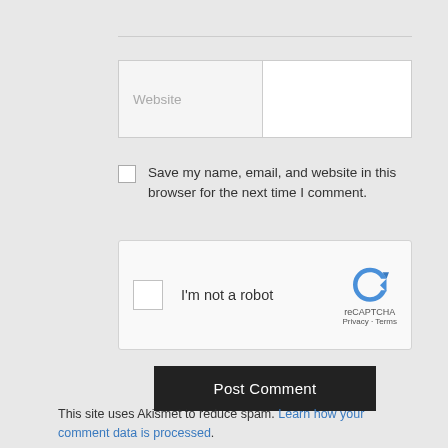[Figure (screenshot): Website input field with label box on the left showing 'Website' placeholder text and white input area on the right]
Save my name, email, and website in this browser for the next time I comment.
[Figure (screenshot): reCAPTCHA widget showing checkbox, 'I'm not a robot' text, and reCAPTCHA logo with Privacy and Terms links]
Post Comment
This site uses Akismet to reduce spam. Learn how your comment data is processed.